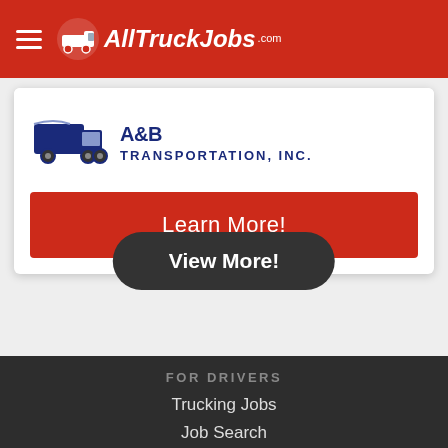AllTruckJobs.com
[Figure (logo): A&B Transportation, Inc. company logo with truck graphic and blue text]
Learn More!
View More!
FOR DRIVERS
Trucking Jobs
Job Search
Apply Now
Company Directory